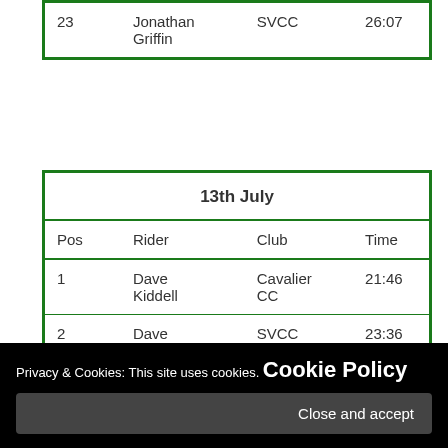| Pos | Rider | Club | Time |
| --- | --- | --- | --- |
| 23 | Jonathan Griffin | SVCC | 26:07 |
| Pos | Rider | Club | Time |
| --- | --- | --- | --- |
| 1 | Dave Kiddell | Cavalier CC | 21:46 |
| 2 | Dave Meadows | SVCC | 23:36 |
| 3 | Andy Butler | Bath CC | 23:45 |
Privacy & Cookies: This site uses cookies. Cookie Policy
Close and accept